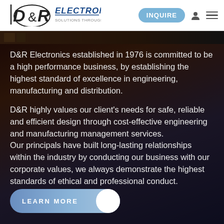[Figure (logo): D&R Electronics logo with tagline 'Solutions Through Creativity']
D&R Electronics established in 1976 is committed to be a high performance business, by establishing the highest standard of excellence in engineering, manufacturing and distribution.
D&R highly values our client's needs for safe, reliable and efficient design through cost-effective engineering and manufacturing management services. Our principals have built long-lasting relationships within the industry by conducting our business with our corporate values, we always demonstrate the highest standards of ethical and professional conduct.
[Figure (other): LEARN MORE toggle button]